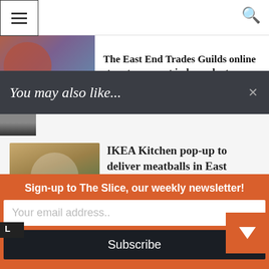≡  🔍
The East End Trades Guilds online store to support independents
You may also like...
IKEA Kitchen pop-up to deliver meatballs in East London
November 14, 2018
Sign-up to The Slice, our weekly newsletter!
Your email address..
Subscribe